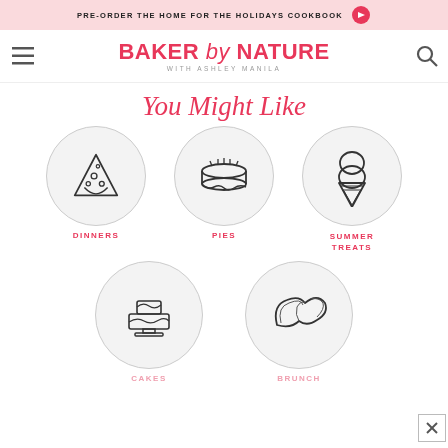PRE-ORDER THE HOME FOR THE HOLIDAYS COOKBOOK →
BAKER by NATURE WITH ASHLEY MANILA
You Might Like
[Figure (illustration): Three circular icons: pizza slice labeled DINNERS, pie labeled PIES, ice cream cone labeled SUMMER TREATS]
[Figure (illustration): Two circular icons: layered cake labeled CAKES, croissant labeled BRUNCH]